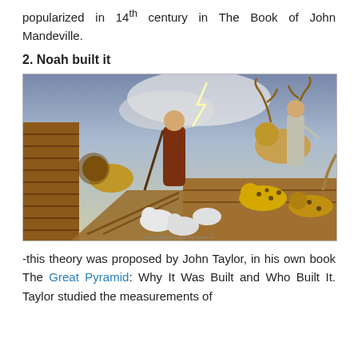popularized in 14th century in The Book of John Mandeville.
2. Noah built it
[Figure (illustration): A painting depicting animals and people boarding Noah's Ark. A robed figure (Noah) stands centrally with a staff, surrounded by various animals including sheep, a lion, a leopard, deer with antlers, and a hyena. The scene is dramatic with stormy sky and lightning in the background.]
-this theory was proposed by John Taylor, in his own book The Great Pyramid: Why It Was Built and Who Built It. Taylor studied the measurements of